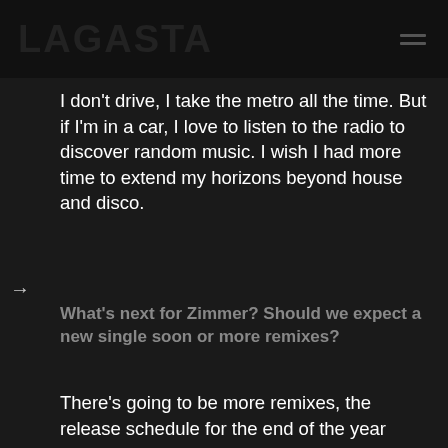LAGASTA
I don’t drive, I take the metro all the time. But if I’m in a car, I love to listen to the radio to discover random music. I wish I had more time to extend my horizons beyond house and disco.
What’s next for Zimmer? Should we expect a new single soon or more remixes?
There’s going to be more remixes, the release schedule for the end of the year